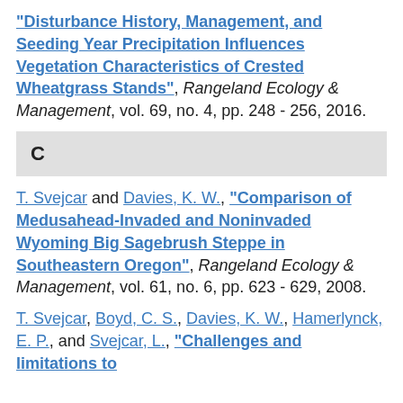“Disturbance History, Management, and Seeding Year Precipitation Influences Vegetation Characteristics of Crested Wheatgrass Stands”, Rangeland Ecology & Management, vol. 69, no. 4, pp. 248 - 256, 2016.
C
T. Svejcar and Davies, K. W., “Comparison of Medusahead-Invaded and Noninvaded Wyoming Big Sagebrush Steppe in Southeastern Oregon”, Rangeland Ecology & Management, vol. 61, no. 6, pp. 623 - 629, 2008.
T. Svejcar, Boyd, C. S., Davies, K. W., Hamerlynck, E. P., and Svejcar, L., “Challenges and limitations to